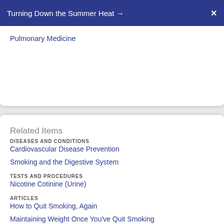Turning Down the Summer Heat →  ✕
Pulmonary Medicine
Related Items
DISEASES AND CONDITIONS
Cardiovascular Disease Prevention
Smoking and the Digestive System
TESTS AND PROCEDURES
Nicotine Cotinine (Urine)
ARTICLES
How to Quit Smoking, Again
Maintaining Weight Once You've Quit Smoking